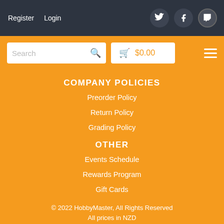Register   Login
COMPANY POLICIES
Preorder Policy
Return Policy
Grading Policy
OTHER
Events Schedule
Rewards Program
Gift Cards
© 2022 HobbyMaster, All Rights Reserved
All prices in NZD